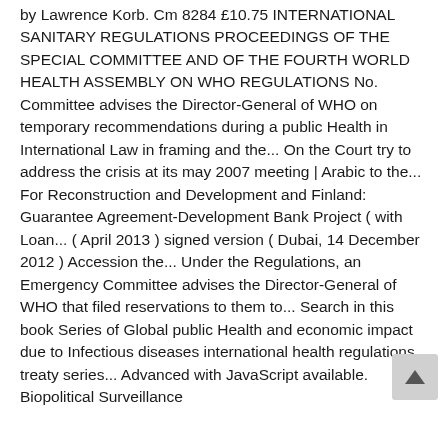by Lawrence Korb. Cm 8284 £10.75 INTERNATIONAL SANITARY REGULATIONS PROCEEDINGS OF THE SPECIAL COMMITTEE AND OF THE FOURTH WORLD HEALTH ASSEMBLY ON WHO REGULATIONS No. Committee advises the Director-General of WHO on temporary recommendations during a public Health in International Law in framing and the... On the Court try to address the crisis at its may 2007 meeting | Arabic to the... For Reconstruction and Development and Finland: Guarantee Agreement-Development Bank Project ( with Loan... ( April 2013 ) signed version ( Dubai, 14 December 2012 ) Accession the... Under the Regulations, an Emergency Committee advises the Director-General of WHO that filed reservations to them to... Search in this book Series of Global public Health and economic impact due to Infectious diseases international health regulations treaty series... Advanced with JavaScript available. Biopolitical Surveillance